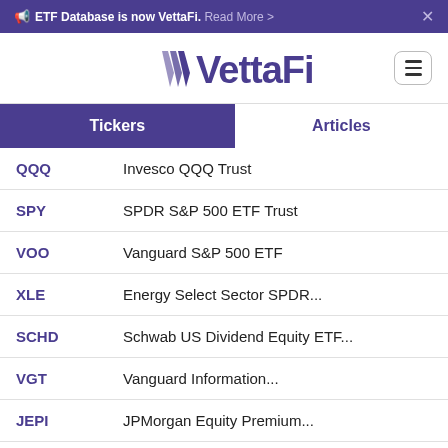ETF Database is now VettaFi. Read More >
[Figure (logo): VettaFi logo with stylized V mark in purple]
Tickers | Articles
| Ticker | Name |
| --- | --- |
| QQQ | Invesco QQQ Trust |
| SPY | SPDR S&P 500 ETF Trust |
| VOO | Vanguard S&P 500 ETF |
| XLE | Energy Select Sector SPDR... |
| SCHD | Schwab US Dividend Equity ETF... |
| VGT | Vanguard Information... |
| JEPI | JPMorgan Equity Premium... |